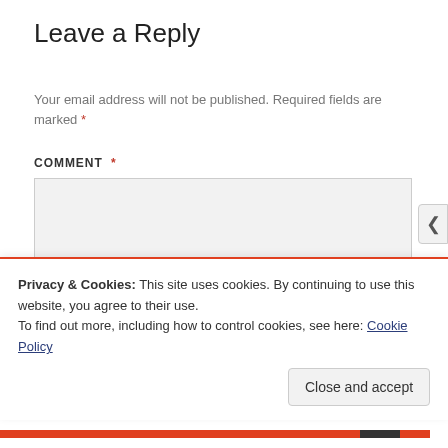Leave a Reply
Your email address will not be published. Required fields are marked *
COMMENT *
[Figure (screenshot): Comment text area input field with light gray background]
Privacy & Cookies: This site uses cookies. By continuing to use this website, you agree to their use. To find out more, including how to control cookies, see here: Cookie Policy
Close and accept